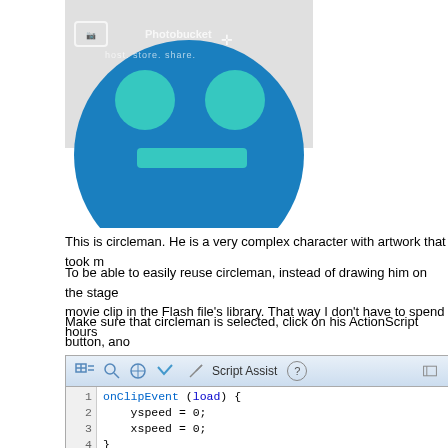[Figure (illustration): Circleman character: a blue circle with two teal circles as eyes and a teal rectangle as a mouth, with a Photobucket watermark overlay]
This is circleman. He is a very complex character with artwork that took m
To be able to easily reuse circleman, instead of drawing him on the stage movie clip in the Flash file's library. That way I don't have to spend hours
Right now he's kindof boring in his new layer on frame 1, especially since doesn't move the animation anywhere. But for this movie, all of the fun wi
Make sure that circleman is selected, click on his ActionScript button, ano see in the picture:
[Figure (screenshot): Flash ActionScript editor panel showing Script Assist mode with code: onClipEvent(load){ yspeed=0; xspeed=0; } onClipEvent(enterFrame){ if(Key.isDown(Key.LEFT)){ xspeed -= 1; } }]